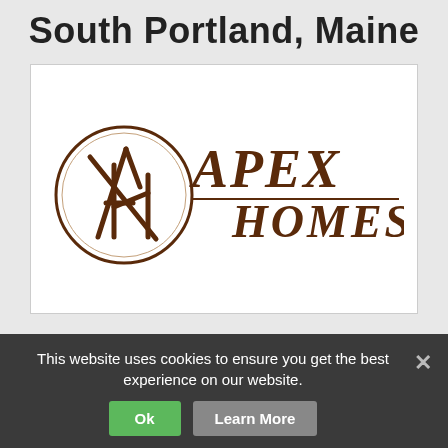South Portland, Maine
[Figure (logo): Apex Homes logo: circular emblem with stylized 'AH' monogram in brown on left, and 'APEX HOMES' text in italic/serif style in brown on right, with horizontal line beneath.]
This website uses cookies to ensure you get the best experience on our website.
Ok
Learn More